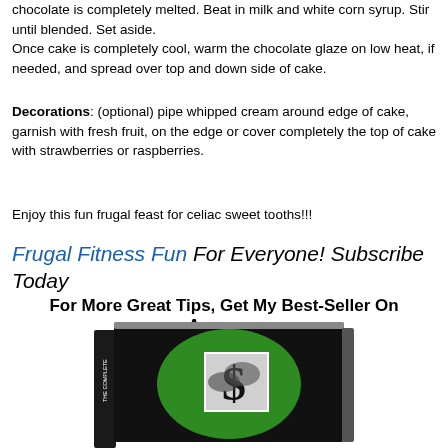chocolate is completely melted. Beat in milk and white corn syrup. Stir until blended. Set aside.
Once cake is completely cool, warm the chocolate glaze on low heat, if needed, and spread over top and down side of cake.
Decorations: (optional) pipe whipped cream around edge of cake, garnish with fresh fruit, on the edge or cover completely the top of cake with strawberries or raspberries.
Enjoy this fun frugal feast for celiac sweet tooths!!!
Frugal Fitness Fun For Everyone! Subscribe Today
For More Great Tips, Get My Best-Seller On Amazon:
[Figure (photo): A black book cover with a green circle containing an image of hands holding a dollar sign symbol, representing a personal finance or frugal living book.]